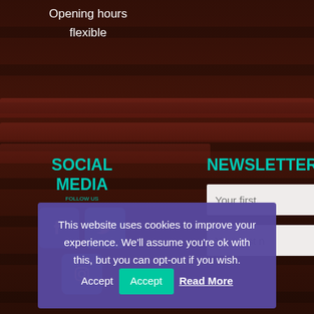Opening hours
flexible
SOCIAL MEDIA
NEWSLETTER
[Figure (screenshot): Cookie consent banner with text: This website uses cookies to improve your experience. We'll assume you're ok with this, but you can opt-out if you wish. With Accept and Read More buttons.]